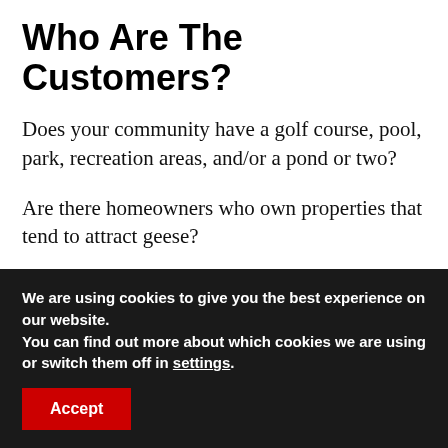Who Are The Customers?
Does your community have a golf course, pool, park, recreation areas, and/or a pond or two?
Are there homeowners who own properties that tend to attract geese?
If so, those are your customers. Homeowners and businesses that need what's called geese
We are using cookies to give you the best experience on our website.
You can find out more about which cookies we are using or switch them off in settings.
Accept